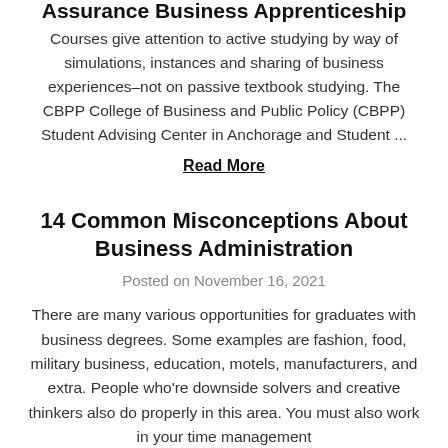Assurance Business Apprenticeship
Courses give attention to active studying by way of simulations, instances and sharing of business experiences–not on passive textbook studying. The CBPP College of Business and Public Policy (CBPP) Student Advising Center in Anchorage and Student ...
Read More
14 Common Misconceptions About Business Administration
Posted on November 16, 2021
There are many various opportunities for graduates with business degrees. Some examples are fashion, food, military business, education, motels, manufacturers, and extra. People who're downside solvers and creative thinkers also do properly in this area. You must also work in your time management